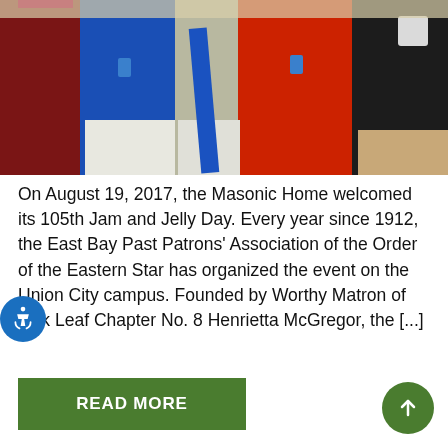[Figure (photo): Group photo of four people standing together. From left: a woman in a dark red outfit, a woman in a bright blue top, a woman in a red shirt wearing a blue sash/stole, and a man in a dark jacket with a badge emblem.]
On August 19, 2017, the Masonic Home welcomed its 105th Jam and Jelly Day. Every year since 1912, the East Bay Past Patrons' Association of the Order of the Eastern Star has organized the event on the Union City campus. Founded by Worthy Matron of Oak Leaf Chapter No. 8 Henrietta McGregor, the [...]
READ MORE